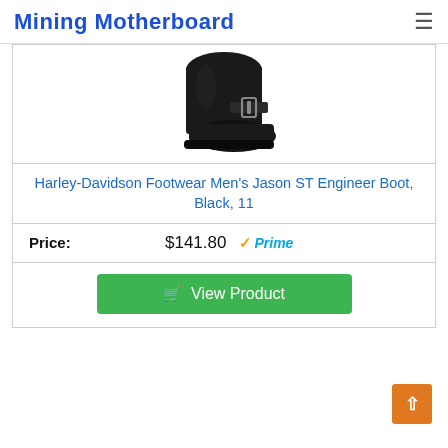Mining Motherboard
[Figure (photo): Black leather Harley-Davidson engineer boot with buckle strap, shown against white background]
Harley-Davidson Footwear Men's Jason ST Engineer Boot, Black, 11
Price: $141.80 Prime
View Product